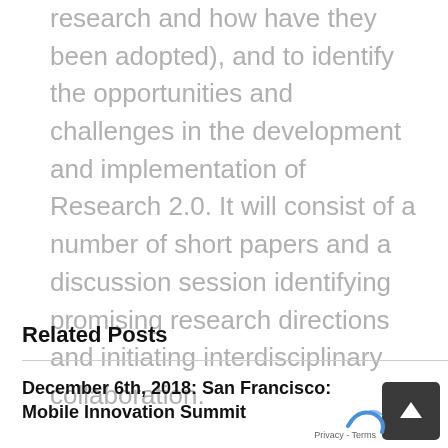research and how have they been adopted), and to identify the opportunities and challenges in the development and implementation of Research 2.0. It will consist of a number of short papers and a discussion session identifying promising research directions and initiating interdisciplinary collaboration.
Related Posts
December 6th, 2018:  San Francisco: Mobile Innovation Summit